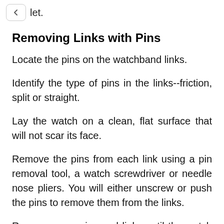let.
Removing Links with Pins
Locate the pins on the watchband links.
Identify the type of pins in the links--friction, split or straight.
Lay the watch on a clean, flat surface that will not scar its face.
Remove the pins from each link using a pin removal tool, a watch screwdriver or needle nose pliers. You will either unscrew or push the pins to remove them from the links.
Remove more pins and links until the watch will fit